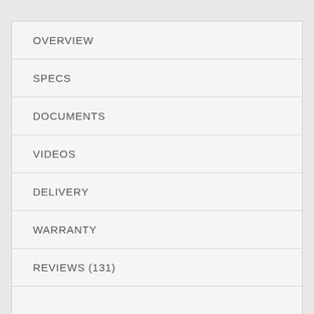OVERVIEW
SPECS
DOCUMENTS
VIDEOS
DELIVERY
WARRANTY
REVIEWS (131)
[Figure (photo): Partial view of a white electronic device (appears to be a scale or medical device) visible at the bottom of the page, with a grey scroll-to-top arrow button in the bottom right corner.]